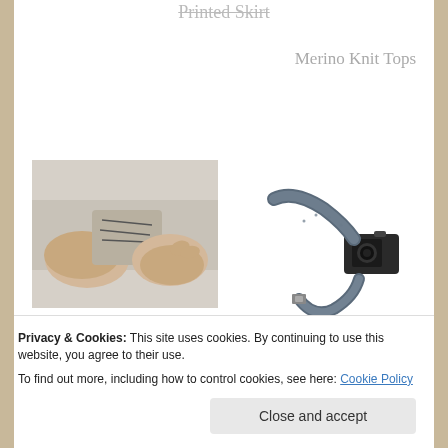Printed Skirt
Merino Knit Tops
[Figure (photo): Hands holding fabric with visible hand stitching]
5 Essential Hand Stitches (in Seamwork magazine, read it
[Figure (photo): Retro camera strap made of leather-like material with camera attached]
Tutorial: Retro Camera Strap
Privacy & Cookies: This site uses cookies. By continuing to use this website, you agree to their use.
To find out more, including how to control cookies, see here: Cookie Policy
Close and accept